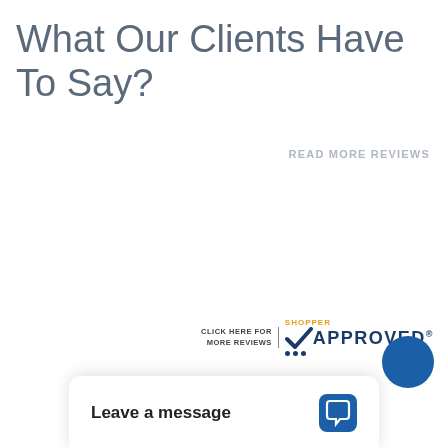What Our Clients Have To Say?
READ MORE REVIEWS
[Figure (logo): Shopper Approved badge with checkmark logo and text 'CLICK HERE FOR MORE REVIEWS | SHOPPER APPROVED']
[Figure (screenshot): Chat widget popup at bottom of page with text 'Leave a message' and chat bubble icon]